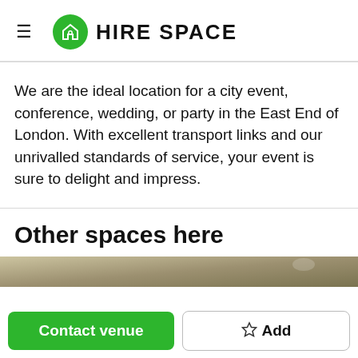HIRE SPACE
We are the ideal location for a city event, conference, wedding, or party in the East End of London. With excellent transport links and our unrivalled standards of service, your event is sure to delight and impress.
Other spaces here
[Figure (photo): Partial view of a room or space image strip at the bottom of the section]
Contact venue
☆ Add